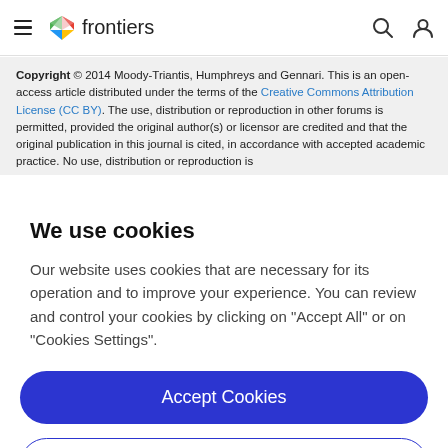frontiers
Copyright © 2014 Moody-Triantis, Humphreys and Gennari. This is an open-access article distributed under the terms of the Creative Commons Attribution License (CC BY). The use, distribution or reproduction in other forums is permitted, provided the original author(s) or licensor are credited and that the original publication in this journal is cited, in accordance with accepted academic practice. No use, distribution or reproduction is
We use cookies
Our website uses cookies that are necessary for its operation and to improve your experience. You can review and control your cookies by clicking on "Accept All" or on "Cookies Settings".
Accept Cookies
Cookies Settings